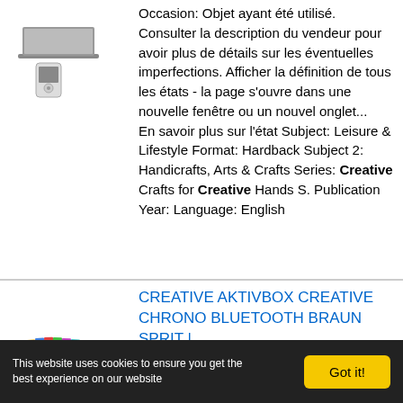[Figure (photo): Electronics product image - portable media player and laptop]
Occasion: Objet ayant été utilisé. Consulter la description du vendeur pour avoir plus de détails sur les éventuelles imperfections. Afficher la définition de tous les états - la page s'ouvre dans une nouvelle fenêtre ou un nouvel onglet... En savoir plus sur l'état Subject: Leisure & Lifestyle Format: Hardback Subject 2: Handicrafts, Arts & Crafts Series: Creative Crafts for Creative Hands S. Publication Year: Language: English
[Figure (photo): Electronics storage box with media player devices]
CREATIVE AKTIVBOX CREATIVE CHRONO BLUETOOTH BRAUN SPRIT |
1Caractéristiques de l'objet État : Neuf: Objet neuf et intact, n'ayant jamais servi,
This website uses cookies to ensure you get the best experience on our website